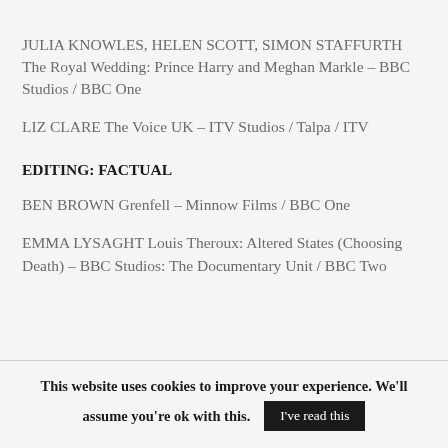JULIA KNOWLES, HELEN SCOTT, SIMON STAFFURTH The Royal Wedding: Prince Harry and Meghan Markle – BBC Studios / BBC One
LIZ CLARE The Voice UK – ITV Studios / Talpa / ITV
EDITING: FACTUAL
BEN BROWN Grenfell – Minnow Films / BBC One
EMMA LYSAGHT Louis Theroux: Altered States (Choosing Death) – BBC Studios: The Documentary Unit / BBC Two
This website uses cookies to improve your experience. We'll assume you're ok with this. I've read this